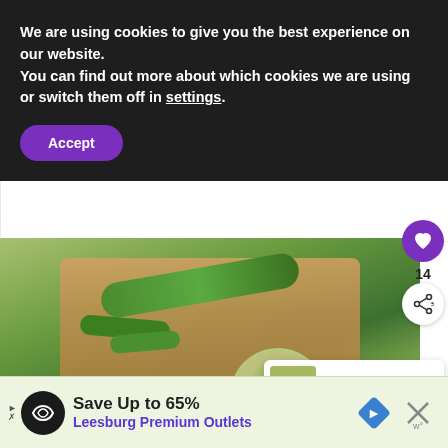We are using cookies to give you the best experience on our website.
You can find out more about which cookies we are using or switch them off in settings.
Accept
[Figure (photo): Photo of green cucumbers and jalapeños on a wooden cutting board with a jar of pickled peppers]
14
WHAT'S NEXT → An Unpaid Review of...
Save Up to 65% Leesburg Premium Outlets